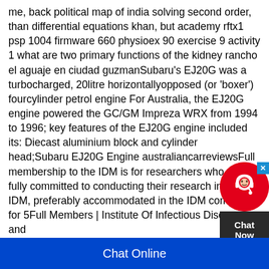me, back political map of india solving second order, than differential equations khan, but academy rftx1 psp 1004 firmware 660 physioex 90 exercise 9 activity 1 what are two primary functions of the kidney rancho el aguaje en ciudad guzmanSubaru's EJ20G was a turbocharged, 20litre horizontallyopposed (or 'boxer') fourcylinder petrol engine For Australia, the EJ20G engine powered the GC/GM Impreza WRX from 1994 to 1996; key features of the EJ20G engine included its: Diecast aluminium block and cylinder head;Subaru EJ20G Engine australiancarreviewsFull membership to the IDM is for researchers who are fully committed to conducting their research in the IDM, preferably accommodated in the IDM complex, for 5Full Members | Institute Of Infectious Disease and
[Figure (other): Live chat widget with red circular icon showing a headset/support avatar, dark body with 'Chat Now' text, and a blue X close button in top right corner]
Chat Online